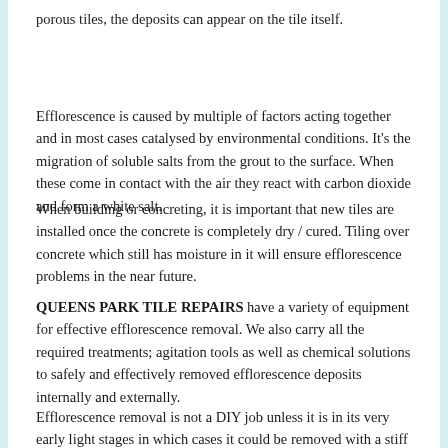porous tiles, the deposits can appear on the tile itself.
Efflorescence is caused by multiple of factors acting together and in most cases catalysed by environmental conditions. It's the migration of soluble salts from the grout to the surface. When these come in contact with the air they react with carbon dioxide and form a white salt.
When building or concreting, it is important that new tiles are installed once the concrete is completely dry / cured. Tiling over concrete which still has moisture in it will ensure efflorescence problems in the near future.
QUEENS PARK TILE REPAIRS have a variety of equipment for effective efflorescence removal. We also carry all the required treatments; agitation tools as well as chemical solutions to safely and effectively removed efflorescence deposits internally and externally.
Efflorescence removal is not a DIY job unless it is in its very early light stages in which cases it could be removed with a stiff brush and a heavy duty efflorescence remover. In later and more advanced stages speciality equipment and solutions are required.
Once QUEENS PARK TILE REPAIRS remove the efflorescence from the